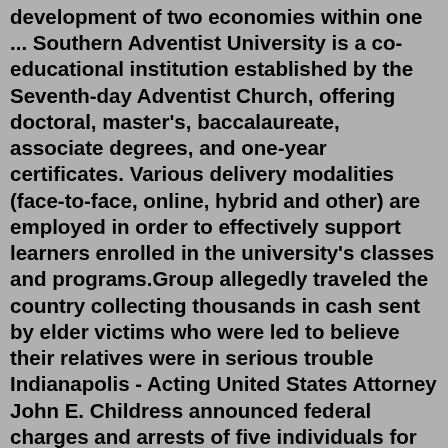development of two economies within one ... Southern Adventist University is a co-educational institution established by the Seventh-day Adventist Church, offering doctoral, master's, baccalaureate, associate degrees, and one-year certificates. Various delivery modalities (face-to-face, online, hybrid and other) are employed in order to effectively support learners enrolled in the university's classes and programs.Group allegedly traveled the country collecting thousands in cash sent by elder victims who were led to believe their relatives were in serious trouble Indianapolis - Acting United States Attorney John E. Childress announced federal charges and arrests of five individuals for their roles in a nationwide elder fraud conspiracy.In 1865 the national debt stood at $2.7 billion. Just the annual interest on that debt was more than twice our entire national budget in 1860. In fact, that Civil War debt is almost twice what the federal government spent before 1860. What's worse, Jefferson's vision had become a nightmare.By the start of the 19th century,